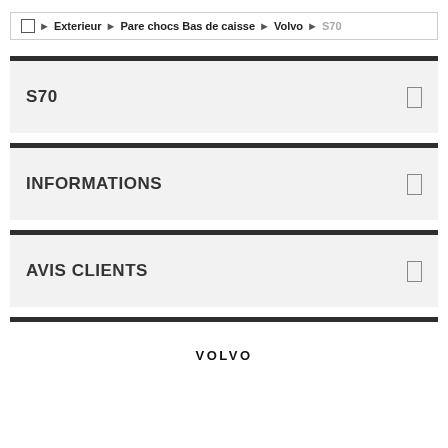□ > Exterieur > Pare chocs Bas de caisse > Volvo > S70
S70
INFORMATIONS
AVIS CLIENTS
[Figure (logo): VOLVO text logo in bold black lettering]